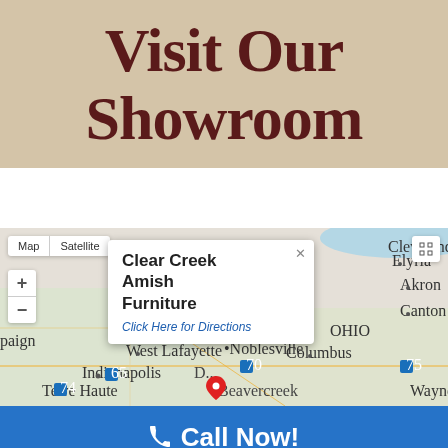Visit Our Showroom
[Figure (map): Google Maps screenshot showing the location of Clear Creek Amish Furniture near Dayton/Beavercreek, Ohio, with a map popup showing the business name and a 'Click Here for Directions' link. The map shows Indiana and Ohio, with Indianapolis and Columbus visible. Map controls include Map/Satellite toggle, zoom in/out, and fullscreen button.]
Call Now!